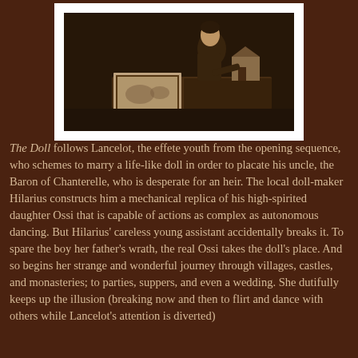[Figure (photo): A sepia-toned still from a silent film showing a man leaning over a table examining what appears to be a miniature doll house and a box with decorative patterns]
The Doll follows Lancelot, the effete youth from the opening sequence, who schemes to marry a life-like doll in order to placate his uncle, the Baron of Chanterelle, who is desperate for an heir. The local doll-maker Hilarius constructs him a mechanical replica of his high-spirited daughter Ossi that is capable of actions as complex as autonomous dancing. But Hilarius' careless young assistant accidentally breaks it. To spare the boy her father's wrath, the real Ossi takes the doll's place. And so begins her strange and wonderful journey through villages, castles, and monasteries; to parties, suppers, and even a wedding. She dutifully keeps up the illusion (breaking now and then to flirt and dance with others while Lancelot's attention is diverted)